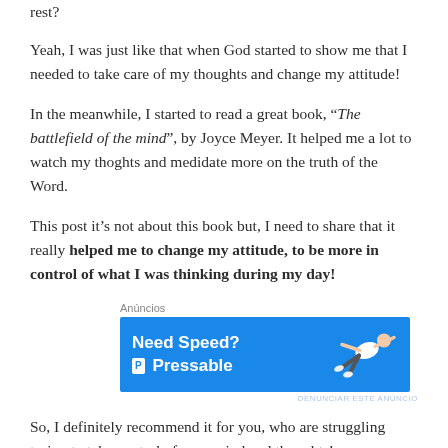rest?
Yeah, I was just like that when God started to show me that I needed to take care of my thoughts and change my attitude!
In the meanwhile, I started to read a great book, “The battlefield of the mind”, by Joyce Meyer. It helped me a lot to watch my thoghts and medidate more on the truth of the Word.
This post it’s not about this book but, I need to share that it really helped me to change my attitude, to be more in control of what I was thinking during my day!
[Figure (other): Advertisement banner for Pressable web hosting showing 'Need Speed? Get Pressable' text with a person flying on a blue background]
So, I definitely recommend it for you, who are struggling trying to take control of your mind and thoughts!